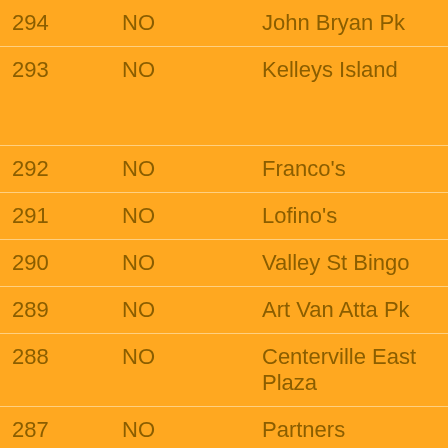| # | Status | Location | Event |
| --- | --- | --- | --- |
| 294 | NO | John Bryan Pk | Boxe… |
| 293 | NO | Kelleys Island | 3rd A… Budd… HASH… |
| 292 | NO | Franco's | Sprin… |
| 291 | NO | Lofino's | DH3 … |
| 290 | NO | Valley St Bingo | DH3 … |
| 289 | NO | Art Van Atta Pk | DH3 … |
| 288 | NO | Centerville East Plaza | DH3 … |
| 287 | NO | Partners | DH3 … |
| 286 | NO | Yellow Springs cabooses | Night… Orien… |
| 285 | NO | Pla-Mor Bowling | DH3 … |
| 284 | NO | Norton's Bar | Hype… |